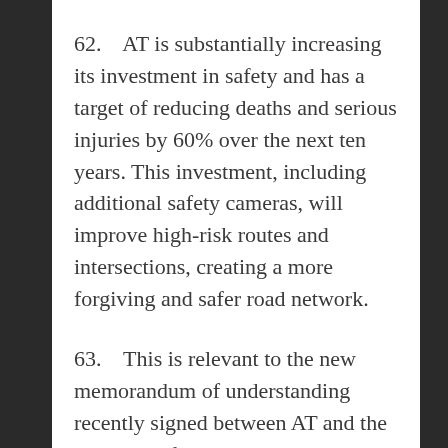62.    AT is substantially increasing its investment in safety and has a target of reducing deaths and serious injuries by 60% over the next ten years. This investment, including additional safety cameras, will improve high-risk routes and intersections, creating a more forgiving and safer road network.
63.    This is relevant to the new memorandum of understanding recently signed between AT and the NZ Police for the ongoing enforcement of Auckland's red-light safety cameras at high-risk